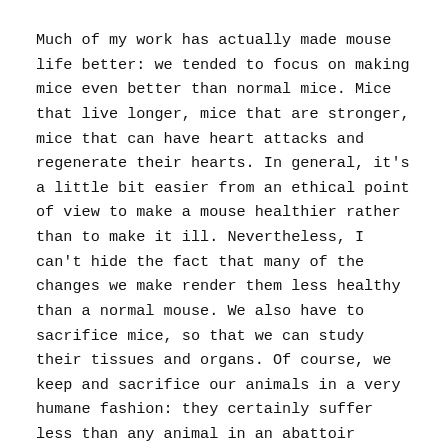Much of my work has actually made mouse life better: we tended to focus on making mice even better than normal mice. Mice that live longer, mice that are stronger, mice that can have heart attacks and regenerate their hearts. In general, it's a little bit easier from an ethical point of view to make a mouse healthier rather than to make it ill. Nevertheless, I can't hide the fact that many of the changes we make render them less healthy than a normal mouse. We also have to sacrifice mice, so that we can study their tissues and organs. Of course, we keep and sacrifice our animals in a very humane fashion: they certainly suffer less than any animal in an abattoir suffers when it is killed for food.
Nonetheless, there is a definite ethical issue, which is whether we can justify using and then sacrificing animals for research, when we are aware that without this research these animals would never exist and would never be